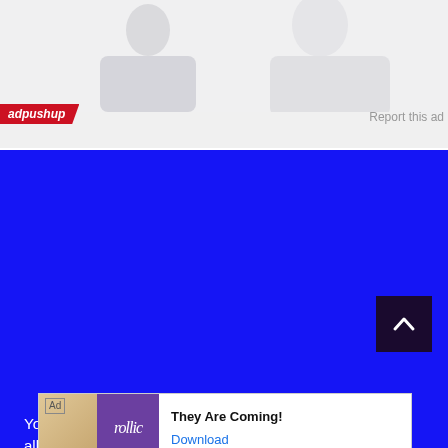[Figure (photo): Two people partially visible in a light gray/white toned photo, ad image area at the top of the page]
adpushup
Report this ad
BECOME A SUBSCRIBER
Our work is only possible because readers like you have chosen to invest in our efforts.
CWBChicago has no corporate sponsors and no backing by foundations or political groups.
Click here to become a subscriber today.
[Figure (screenshot): Ad banner overlay showing Rollic game ad with text 'They Are Coming!' and a Download button in blue]
You will ... through...
Your subscription will help offset reporting expenses and allow us